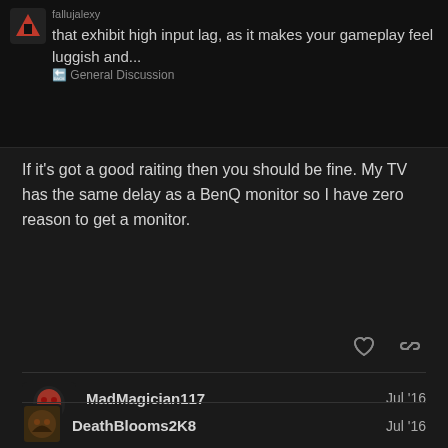that exhibit high input lag, as it makes your gameplay feel luggish and...
General Discussion
If it's got a good raiting then you should be fine. My TV has the same delay as a BenQ monitor so I have zero reason to get a monitor.
MadMagician117
Jul '16
I can't find my TV. It must be too old, but it still seems okay. It was supposedly a very good TV when it came out (2007), but the website doesn't list it any more.
DeathBlooms2K8
Jul '16